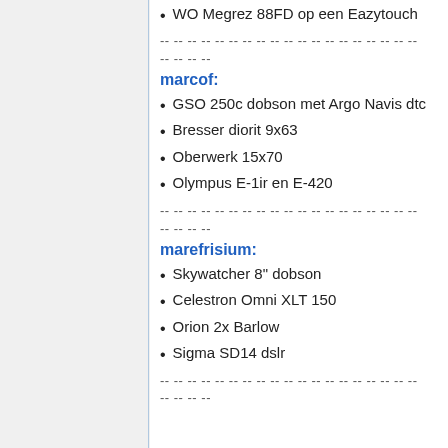WO Megrez 88FD op een Eazytouch
-- -- -- -- -- -- -- -- -- -- -- -- -- -- -- -- -- -- --
-- -- -- --
marcof:
GSO 250c dobson met Argo Navis dtc
Bresser diorit 9x63
Oberwerk 15x70
Olympus E-1ir en E-420
-- -- -- -- -- -- -- -- -- -- -- -- -- -- -- -- -- -- --
-- -- -- --
marefrisium:
Skywatcher 8" dobson
Celestron Omni XLT 150
Orion 2x Barlow
Sigma SD14 dslr
-- -- -- -- -- -- -- -- -- -- -- -- -- -- -- -- -- -- --
-- -- -- --